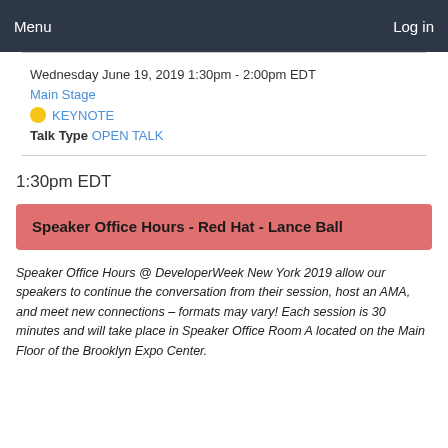Menu  Log in
Wednesday June 19, 2019 1:30pm - 2:00pm EDT
Main Stage
KEYNOTE
Talk Type OPEN TALK
1:30pm EDT
Speaker Office Hours - Red Hat - Lance Ball
Speaker Office Hours @ DeveloperWeek New York 2019 allow our speakers to continue the conversation from their session, host an AMA, and meet new connections  –  formats may vary!  Each session is 30 minutes and will take place in Speaker Office Room A located on the Main Floor of the Brooklyn Expo Center.